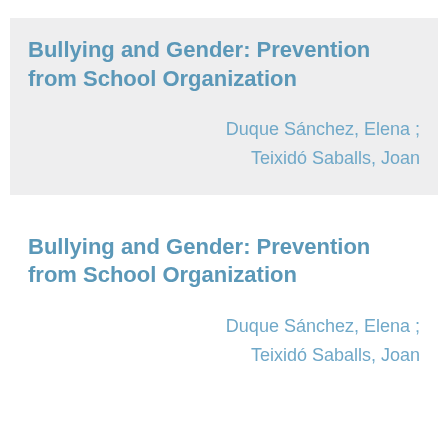Bullying and Gender: Prevention from School Organization
Duque Sánchez, Elena ; Teixidó Saballs, Joan
Bullying and Gender: Prevention from School Organization
Duque Sánchez, Elena ; Teixidó Saballs, Joan